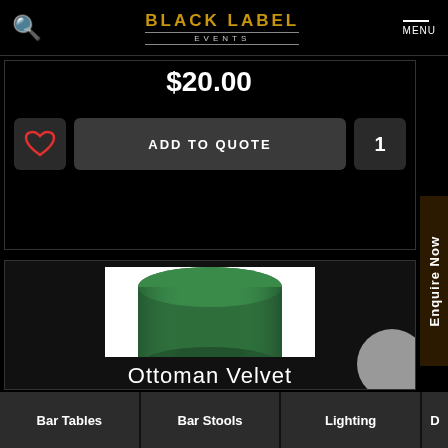BLACK LABEL EVENTS | MENU
$20.00
ADD TO QUOTE
1
[Figure (photo): Green velvet cylindrical ottoman on white background]
Ottoman Velvet
Enquire Now
Bar Tables
Bar Stools
Lighting
D